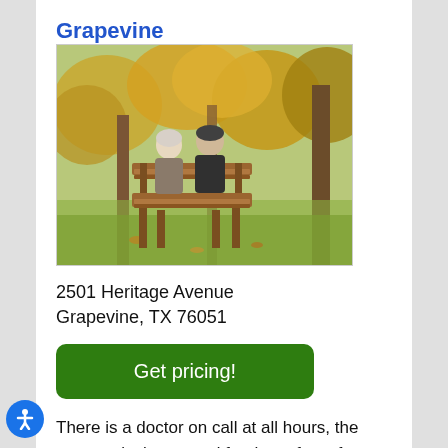Grapevine
[Figure (photo): Two elderly people sitting on a wooden park bench viewed from behind, surrounded by autumn trees with yellow and orange foliage.]
2501 Heritage Avenue
Grapevine, TX 76051
Get pricing!
There is a doctor on call at all hours, the community is secured for the safety of patients that might be exit seeking, staff is trained to deal with any exit seeking behaviors that might present themselves dealt with, the